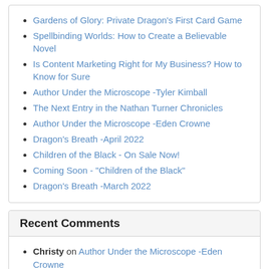Gardens of Glory: Private Dragon's First Card Game
Spellbinding Worlds: How to Create a Believable Novel
Is Content Marketing Right for My Business? How to Know for Sure
Author Under the Microscope -Tyler Kimball
The Next Entry in the Nathan Turner Chronicles
Author Under the Microscope -Eden Crowne
Dragon's Breath -April 2022
Children of the Black - On Sale Now!
Coming Soon - "Children of the Black"
Dragon's Breath -March 2022
Recent Comments
Christy on Author Under the Microscope -Eden Crowne
wjlong3rd on Coming Soon - "Children of the Black"
latrobe on Dragon's Breath -January 2022
umbra_crow on Dragon's Breath -January 2022
supermissmel on Dragon's Breath -January 2022
Joyce Dalton on Dragon's Breath -January 2022